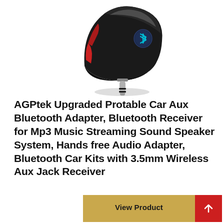[Figure (photo): A black Bluetooth car aux adapter with a 3.5mm jack at the bottom, a blue Bluetooth logo button on the right side, and a red LED indicator on the left. The device has a smooth, rounded black plastic casing.]
AGPtek Upgraded Protable Car Aux Bluetooth Adapter, Bluetooth Receiver for Mp3 Music Streaming Sound Speaker System, Hands free Audio Adapter, Bluetooth Car Kits with 3.5mm Wireless Aux Jack Receiver